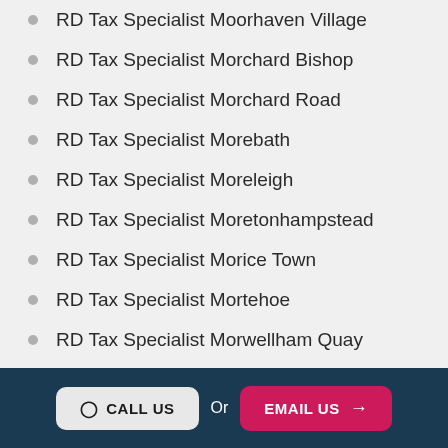RD Tax Specialist Moorhaven Village
RD Tax Specialist Morchard Bishop
RD Tax Specialist Morchard Road
RD Tax Specialist Morebath
RD Tax Specialist Moreleigh
RD Tax Specialist Moretonhampstead
RD Tax Specialist Morice Town
RD Tax Specialist Mortehoe
RD Tax Specialist Morwellham Quay
RD Tax Specialist Muddiford
CALL US  Or  EMAIL US →